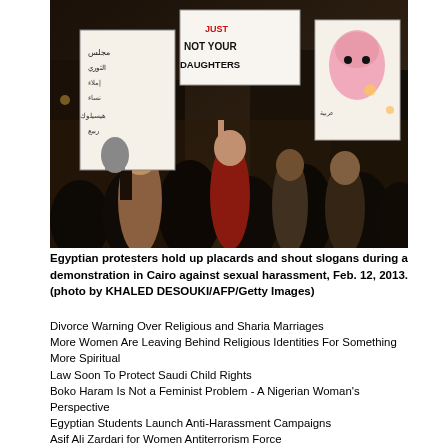[Figure (photo): Protest scene with Egyptian protesters holding up placards including one reading 'NOT YOUR DAUGHTERS' and others with Arabic script, crowd visible in background at night]
Egyptian protesters hold up placards and shout slogans during a demonstration in Cairo against sexual harassment, Feb. 12, 2013. (photo by KHALED DESOUKI/AFP/Getty Images)
Divorce Warning Over Religious and Sharia Marriages
More Women Are Leaving Behind Religious Identities For Something More Spiritual
Law Soon To Protect Saudi Child Rights
Boko Haram Is Not a Feminist Problem - A Nigerian Woman's Perspective
Egyptian Students Launch Anti-Harassment Campaigns
Asif Ali Zardari for Women Antiterrorism Force
Three Missing London Schoolgirls 'Travelling To Syria to Join Isil'
Labors Of Love: Husbands Force Working Saudi Women to Divide Up Salary
Have AKP's Policies Caused Rise In Violence Against Women?
Don't Force Muslims to Take Of Their Hijabs at Work and In Schools -